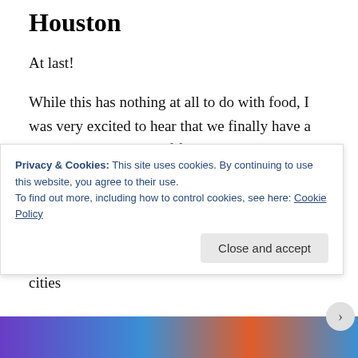Houston
At last!
While this has nothing at all to do with food, I was very excited to hear that we finally have a rudimentary network of free wireless locations throughout downtown.  Sure, I don't live downtown.  And I don't work there or even get out there very often, but it's a start, dammit!
Hopefully, we can soon join the ranks of other cities
Privacy & Cookies: This site uses cookies. By continuing to use this website, you agree to their use.
To find out more, including how to control cookies, see here: Cookie Policy
Close and accept